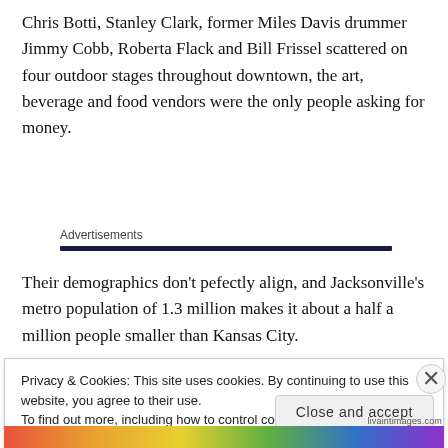Chris Botti, Stanley Clark, former Miles Davis drummer Jimmy Cobb, Roberta Flack and Bill Frissel scattered on four outdoor stages throughout downtown, the art, beverage and food vendors were the only people asking for money.
Advertisements
Their demographics don't pefectly align, and Jacksonville's metro population of 1.3 million makes it about a half a million people smaller than Kansas City.
Privacy & Cookies: This site uses cookies. By continuing to use this website, you agree to their use.
To find out more, including how to control cookies, see here: Cookie Policy
Close and accept